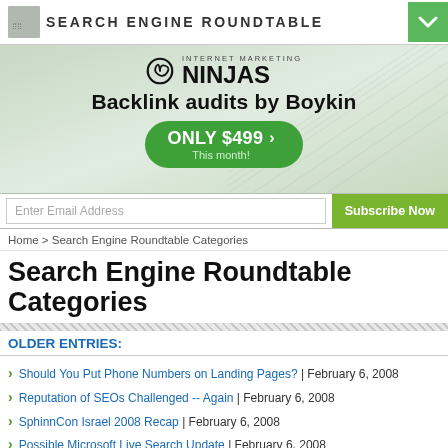SEARCH ENGINE ROUNDTABLE
[Figure (illustration): Internet Marketing Ninjas advertisement banner with spiral logo, text 'Backlink audits by Boykin', green button 'ONLY $499 This month!']
Enter Email Address | Subscribe Now
Home > Search Engine Roundtable Categories
Search Engine Roundtable Categories
OLDER ENTRIES:
Should You Put Phone Numbers on Landing Pages? | February 6, 2008
Reputation of SEOs Challenged -- Again | February 6, 2008
SphinnCon Israel 2008 Recap | February 6, 2008
Possible Microsoft Live Search Update | February 6, 2008
Daily Search Forum Recap: February 5, 2008 | February 5, 2008